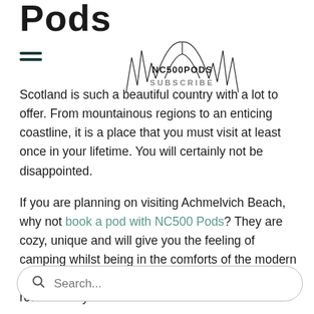Pods
[Figure (logo): NC500PODS logo with spiky mountain/wheat illustration and 'SUBSCRIBE' text watermark overlay]
Scotland is such a beautiful country with a lot to offer. From mountainous regions to an enticing coastline, it is a place that you must visit at least once in your lifetime. You will certainly not be disappointed.
If you are planning on visiting Achmelvich Beach, why not book a pod with NC500 Pods? They are cozy, unique and will give you the feeling of camping whilst being in the comforts of the modern world. Get involved with Scotland and book a retreat today!